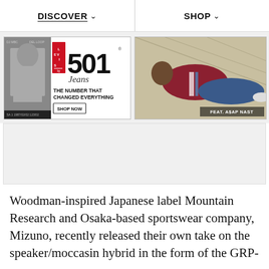DISCOVER  ∨        SHOP  ∨
[Figure (screenshot): Levi's 501 Jeans advertisement banner: black-and-white photo of person on left, red Levi's logo and large '501 Jeans' text, 'THE NUMBER THAT CHANGED EVERYTHING' tagline, 'SHOP NOW' button]
[Figure (photo): Fashion photo of man in burgundy jacket and jeans reclining, labeled 'FEAT. A$AP NAST']
[Figure (screenshot): Grey placeholder/ad content area below the banner images]
Woodman-inspired Japanese label Mountain Research and Osaka-based sportswear company, Mizuno, recently released their own take on the speaker/moccasin hybrid in the form of the GRP-